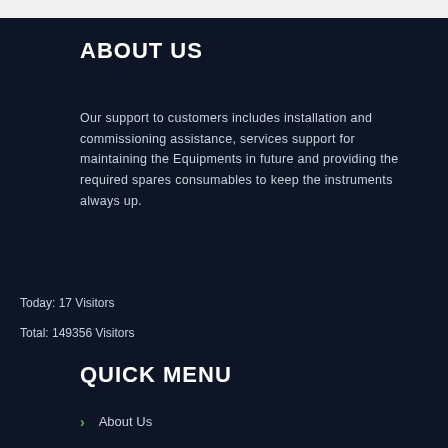ABOUT US
Our support to customers includes installation and commissioning assistance, services support for maintaining the Equipments in future and providing the required spares consumables to keep the instruments always up.
Today: 17 Visitors
Total: 149356 Visitors
QUICK MENU
About Us